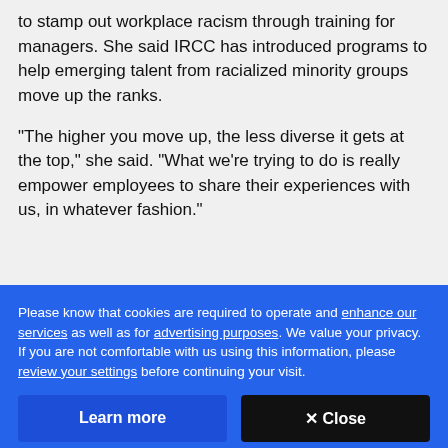to stamp out workplace racism through training for managers. She said IRCC has introduced programs to help emerging talent from racialized minority groups move up the ranks.
"The higher you move up, the less diverse it gets at the top," she said. "What we're trying to do is really empower employees to share their experiences with us, in whatever fashion."
Please know that cookies are required to operate and enhance our services as well as for advertising purposes. We value your privacy. If you are not comfortable with us using this information, please review your settings before continuing your visit.